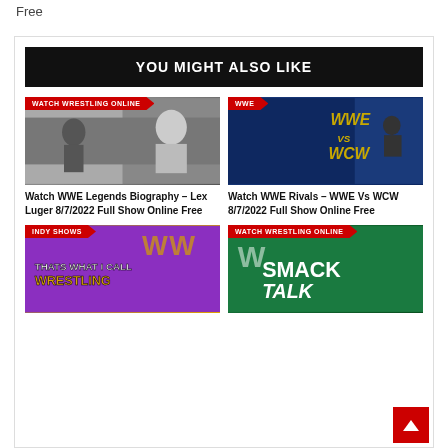Free
YOU MIGHT ALSO LIKE
[Figure (photo): Thumbnail: Watch Wrestling Online badge with wrestlers image]
Watch WWE Legends Biography – Lex Luger 8/7/2022 Full Show Online Free
[Figure (photo): Thumbnail: WWE badge with WWE vs WCW promotional image]
Watch WWE Rivals – WWE Vs WCW 8/7/2022 Full Show Online Free
[Figure (photo): Thumbnail: Indy Shows badge with That's What I Call Wrestling image]
[Figure (photo): Thumbnail: Watch Wrestling Online badge with Smack Talk image]